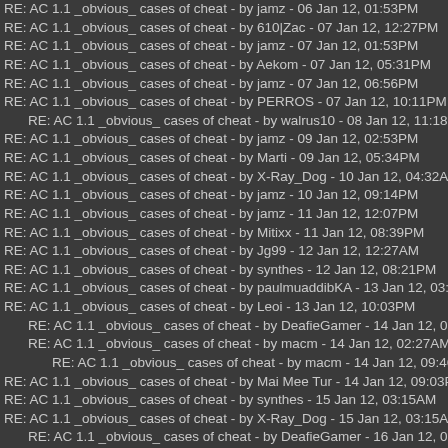RE: AC 1.1 _obvious_ cases of cheat - by jamz - 06 Jan 12, 01:53PM
RE: AC 1.1 _obvious_ cases of cheat - by 610|Zac - 07 Jan 12, 12:27PM
RE: AC 1.1 _obvious_ cases of cheat - by jamz - 07 Jan 12, 01:53PM
RE: AC 1.1 _obvious_ cases of cheat - by Aekom - 07 Jan 12, 05:31PM
RE: AC 1.1 _obvious_ cases of cheat - by jamz - 07 Jan 12, 06:56PM
RE: AC 1.1 _obvious_ cases of cheat - by PERROS - 07 Jan 12, 10:11PM
RE: AC 1.1 _obvious_ cases of cheat - by walrus10 - 08 Jan 12, 11:18PM
RE: AC 1.1 _obvious_ cases of cheat - by jamz - 09 Jan 12, 02:53PM
RE: AC 1.1 _obvious_ cases of cheat - by Marti - 09 Jan 12, 05:34PM
RE: AC 1.1 _obvious_ cases of cheat - by X-Ray_Dog - 10 Jan 12, 04:32AM
RE: AC 1.1 _obvious_ cases of cheat - by jamz - 10 Jan 12, 09:14PM
RE: AC 1.1 _obvious_ cases of cheat - by jamz - 11 Jan 12, 12:07PM
RE: AC 1.1 _obvious_ cases of cheat - by Mitixx - 11 Jan 12, 08:39PM
RE: AC 1.1 _obvious_ cases of cheat - by Jg99 - 12 Jan 12, 12:27AM
RE: AC 1.1 _obvious_ cases of cheat - by synthes - 12 Jan 12, 08:21PM
RE: AC 1.1 _obvious_ cases of cheat - by paulmuaddibKA - 13 Jan 12, 03:40PM
RE: AC 1.1 _obvious_ cases of cheat - by Leoi - 13 Jan 12, 10:03PM
RE: AC 1.1 _obvious_ cases of cheat - by DeafieGamer - 14 Jan 12, 02:23AM
RE: AC 1.1 _obvious_ cases of cheat - by macm - 14 Jan 12, 02:27AM
RE: AC 1.1 _obvious_ cases of cheat - by macm - 14 Jan 12, 09:46PM
RE: AC 1.1 _obvious_ cases of cheat - by Mai Mee Tur - 14 Jan 12, 09:03PM
RE: AC 1.1 _obvious_ cases of cheat - by synthes - 15 Jan 12, 03:15AM
RE: AC 1.1 _obvious_ cases of cheat - by X-Ray_Dog - 15 Jan 12, 03:15AM
RE: AC 1.1 _obvious_ cases of cheat - by DeafieGamer - 16 Jan 12, 09:30AM
RE: AC 1.1 _obvious_ cases of cheat - by PERROS - 15 Jan 12, 11:53AM